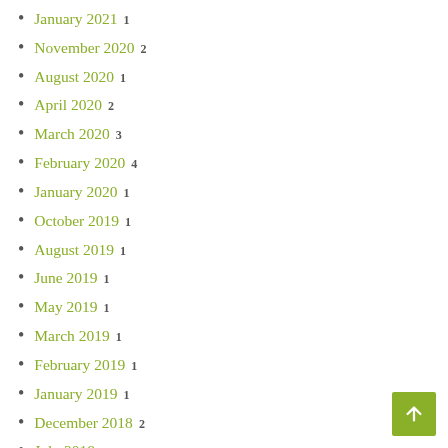January 2021  1
November 2020  2
August 2020  1
April 2020  2
March 2020  3
February 2020  4
January 2020  1
October 2019  1
August 2019  1
June 2019  1
May 2019  1
March 2019  1
February 2019  1
January 2019  1
December 2018  2
July 2018  1
May 2018  1
April 2018  3
March 2018  5